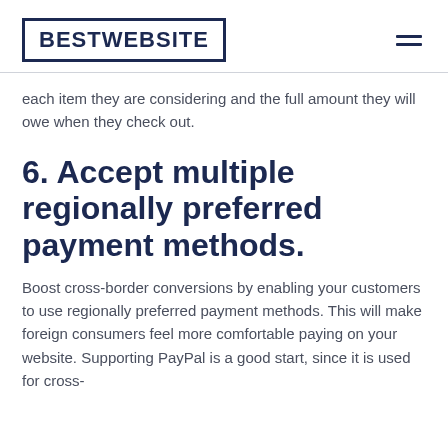BESTWEBSITE
each item they are considering and the full amount they will owe when they check out.
6. Accept multiple regionally preferred payment methods.
Boost cross-border conversions by enabling your customers to use regionally preferred payment methods. This will make foreign consumers feel more comfortable paying on your website. Supporting PayPal is a good start, since it is used for cross-